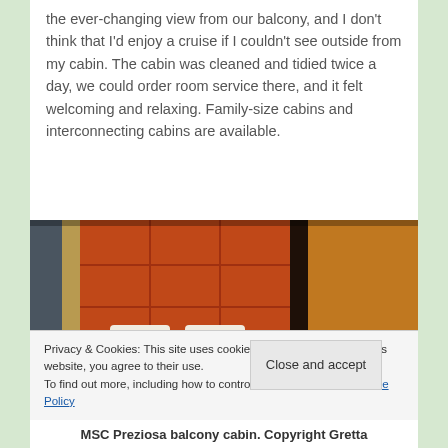the ever-changing view from our balcony, and I don't think that I'd enjoy a cruise if I couldn't see outside from my cabin. The cabin was cleaned and tidied twice a day, we could order room service there, and it felt welcoming and relaxing. Family-size cabins and interconnecting cabins are available.
[Figure (photo): Interior photo of MSC Preziosa balcony cabin showing orange padded headboard, dark walls, and decorative fabric panel on right side]
Privacy & Cookies: This site uses cookies. By continuing to use this website, you agree to their use.
To find out more, including how to control cookies, see here: Cookie Policy
MSC Preziosa balcony cabin. Copyright Gretta